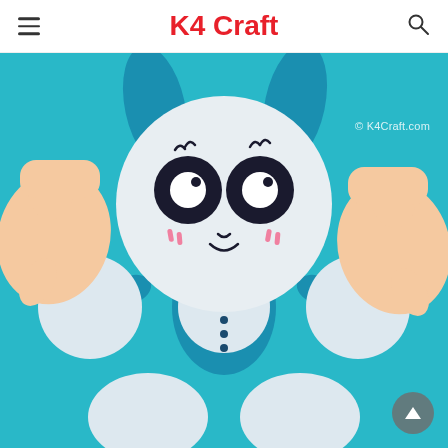K4 Craft
[Figure (photo): Hands holding a paper craft bunny/rabbit made from white circular paper pieces on a teal/blue background. The rabbit has large black eyes with white highlights, pink cheek marks, a small nose and mouth, and blue ears. The body is assembled from multiple white circular paper shapes with blue connecting pieces and small black button details.]